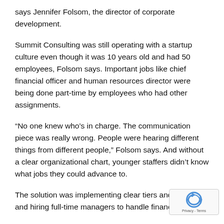says Jennifer Folsom, the director of corporate development.
Summit Consulting was still operating with a startup culture even though it was 10 years old and had 50 employees, Folsom says. Important jobs like chief financial officer and human resources director were being done part-time by employees who had other assignments.
“No one knew who’s in charge. The communication piece was really wrong. People were hearing different things from different people,” Folsom says. And without a clear organizational chart, younger staffers didn’t know what jobs they could advance to.
The solution was implementing clear tiers and teams and hiring full-time managers to handle finances and…